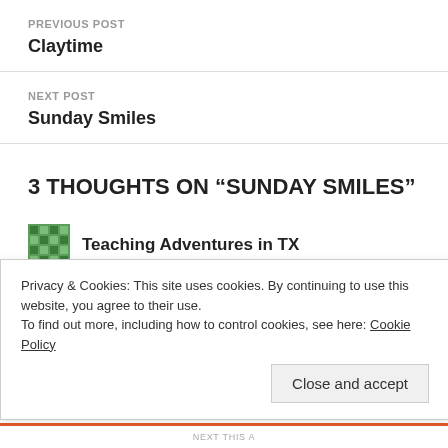PREVIOUS POST
Claytime
NEXT POST
Sunday Smiles
3 THOUGHTS ON “SUNDAY SMILES”
Teaching Adventures in TX
MAY 4, 2014 AT 11:00 AM
We had our own adventures as teens (llamas, performing
Privacy & Cookies: This site uses cookies. By continuing to use this website, you agree to their use.
To find out more, including how to control cookies, see here: Cookie Policy
Close and accept